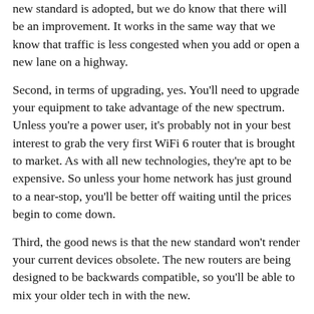new standard is adopted, but we do know that there will be an improvement. It works in the same way that we know that traffic is less congested when you add or open a new lane on a highway.
Second, in terms of upgrading, yes. You'll need to upgrade your equipment to take advantage of the new spectrum. Unless you're a power user, it's probably not in your best interest to grab the very first WiFi 6 router that is brought to market. As with all new technologies, they're apt to be expensive. So unless your home network has just ground to a near-stop, you'll be better off waiting until the prices begin to come down.
Third, the good news is that the new standard won't render your current devices obsolete. The new routers are being designed to be backwards compatible, so you'll be able to mix your older tech in with the new.
On balance, we're absolutely thrilled to see the expansion of the wireless spectrum, and we think it will make a big difference to home networks of all shapes and sizes.